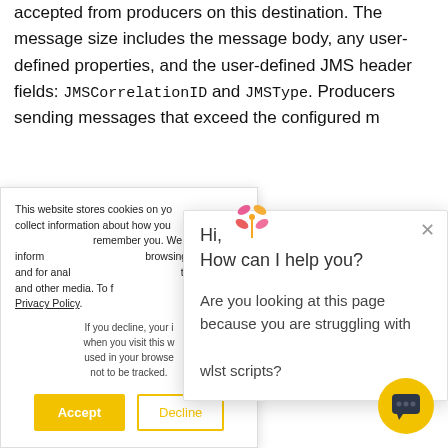accepted from producers on this destination. The message size includes the message body, any user-defined properties, and the user-defined JMS header fields: JMSCorrelationID and JMSType. Producers sending messages that exceed the configured m
This website stores cookies on your computer to collect information about how you interact with our website. We remember you. We use this information to improve your browsing experience and for analytics and metrics about this website and other media. To find out more, see our Privacy Policy.
If you decline, your information won't be tracked when you visit this website. A single cookie will be used in your browser to remember your preference not to be tracked.
Hi,
How can I help you?

Are you looking at this page because you are struggling with wlst scripts?